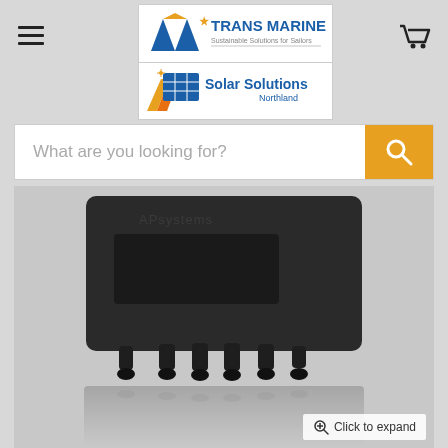[Figure (logo): Trans Marine logo - sailing boat with star, text TRANS MARINE, Sustainable Solutions for Sailors]
[Figure (logo): Solar Solutions Northland logo - solar panel with sunburst, blue and orange]
What are you looking for?
[Figure (photo): APsystems microinverter device, black rectangular box with multiple MC4 connectors at bottom, shown at angle with reflection below. Click to expand button in lower right.]